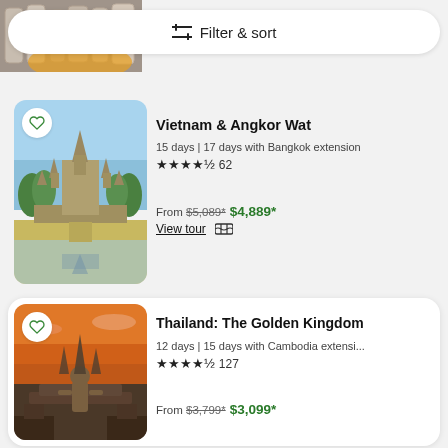[Figure (screenshot): Partial top image strip showing ancient ruins and pipes]
Filter & sort
[Figure (photo): Photo of Angkor Wat temple complex with reflection in water]
Vietnam & Angkor Wat
15 days | 17 days with Bangkok extension
★★★★½ 62
From $5,089* $4,889*
View tour 🗺
[Figure (photo): Photo of Buddha statue at Sukhothai temple with sunset sky]
Thailand: The Golden Kingdom
12 days | 15 days with Cambodia extensi...
★★★★½ 127
From $3,799* $3,099*